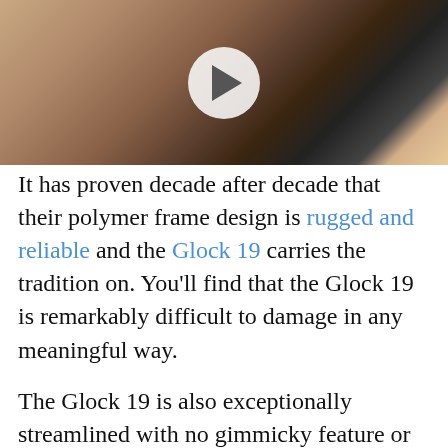[Figure (photo): A photo of two people (a woman on the left and a man on the right) with a circular play button overlay in the center, indicating a video thumbnail.]
It has proven decade after decade that their polymer frame design is rugged and reliable and the Glock 19 carries the tradition on. You'll find that the Glock 19 is remarkably difficult to damage in any meaningful way.
The Glock 19 is also exceptionally streamlined with no gimmicky feature or external safeties getting in the way. Some newer shooters may be a little sketched out by the lack of external safety mechanisms, but as you become more comfortable with firearms you'll see the most